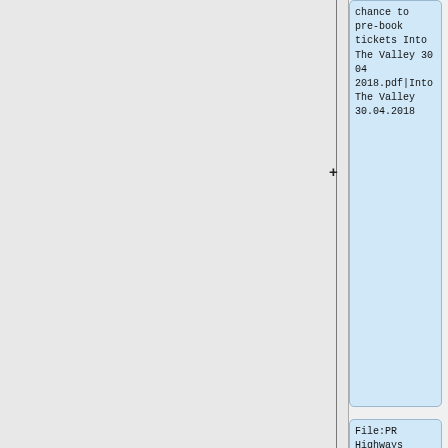chance to pre-book tickets Into The Valley 30 04 2018.pdf|Into The Valley 30.04.2018
File:PR Highways England 27 04 2018.pdf|Highways England 27.04.2018
File:PR MAG calls for common sense 24 04